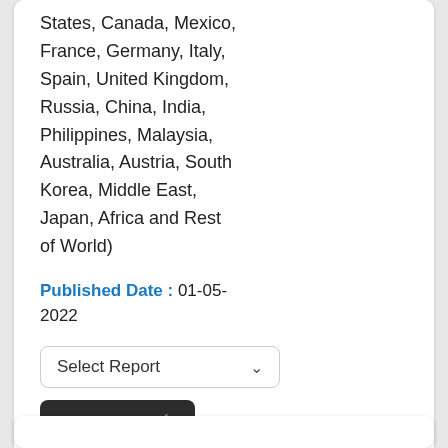States, Canada, Mexico, France, Germany, Italy, Spain, United Kingdom, Russia, China, India, Philippines, Malaysia, Australia, Austria, South Korea, Middle East, Japan, Africa and Rest of World)
Published Date : 01-05-2022
Select Report
Buy Now
Read More